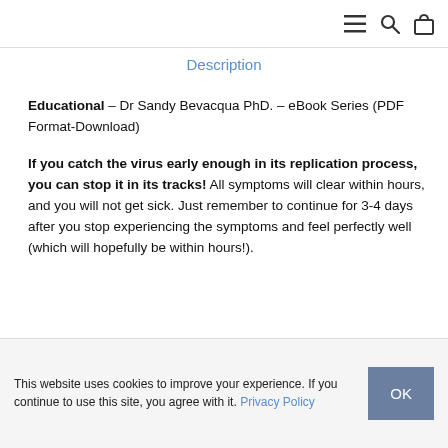≡ 🔍 🛍
Description
Educational – Dr Sandy Bevacqua PhD. – eBook Series (PDF Format-Download)
If you catch the virus early enough in its replication process, you can stop it in its tracks! All symptoms will clear within hours, and you will not get sick. Just remember to continue for 3-4 days after you stop experiencing the symptoms and feel perfectly well (which will hopefully be within hours!).
This website uses cookies to improve your experience. If you continue to use this site, you agree with it. Privacy Policy